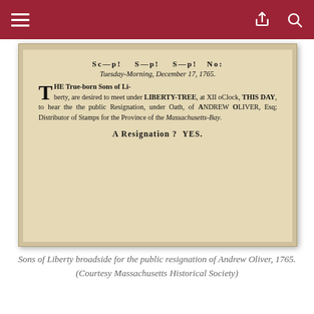Navigation bar with hamburger menu, share icon, and search icon
[Figure (photo): Historical broadside document on aged paper reading: 'Sc—p! St—p! St—p! No! Tuesday-Morning, December 17, 1765. THE True-born Sons of Liberty, are desired to meet under LIBERTY-TREE, at XII oClock, THIS DAY, to hear the public Resignation, under Oath, of Andrew Oliver, Esq; Distributor of Stamps for the Province of the Massachusetts-Bay. A Resignation? YES.']
Sons of Liberty broadside for the public resignation of Andrew Oliver, 1765. (Courtesy Massachusetts Historical Society)